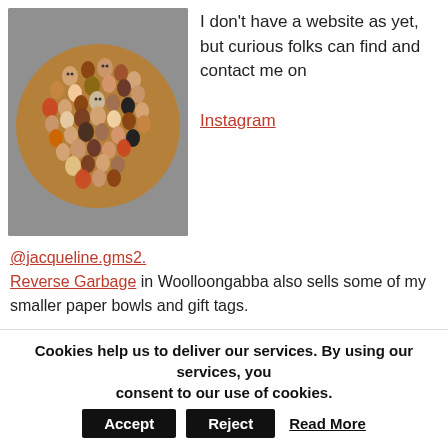[Figure (photo): Circular artwork filled with many small painted face-shaped stones/pebbles arranged densely on a brown circular wooden backing, set against a grey background.]
I don't have a website as yet, but curious folks can find and contact me on Instagram
@jacqueline.gms2. Reverse Garbage in Woolloongabba also sells some of my smaller paper bowls and gift tags.
I was a finalist in the 2017 Queensland Regional Art
Cookies help us to deliver our services. By using our services, you consent to our use of cookies. Accept Reject Read More